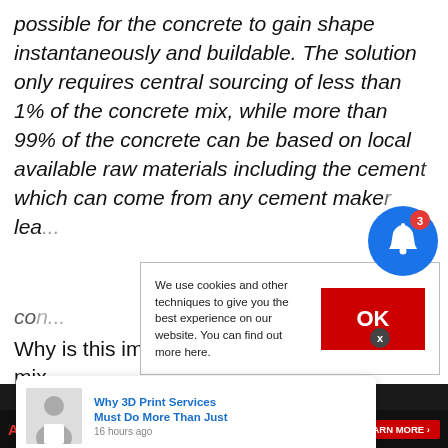possible for the concrete to gain shape instantaneously and buildable. The solution only requires central sourcing of less than 1% of the concrete mix, while more than 99% of the concrete can be based on local available raw materials including the cement which can come from any cement make... lea... co...
[Figure (illustration): Blue circular notification bell icon with red badge showing number 3]
We use cookies and other techniques to give you the best experience on our website. You can find out more here.
Why is this important? It's because the dry mix
[Figure (screenshot): Notification popup: Why 3D Print Services Must Do More Than Just — 16 hours ago, with a thumbnail photo of a woman]
[Figure (illustration): Acti-Gel advertisement bar at bottom with Learn More button and product image]